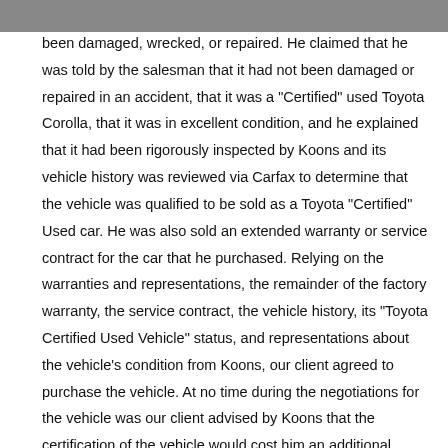been damaged, wrecked, or repaired. He claimed that he was told by the salesman that it had not been damaged or repaired in an accident, that it was a "Certified" used Toyota Corolla, that it was in excellent condition, and he explained that it had been rigorously inspected by Koons and its vehicle history was reviewed via Carfax to determine that the vehicle was qualified to be sold as a Toyota "Certified" Used car. He was also sold an extended warranty or service contract for the car that he purchased. Relying on the warranties and representations, the remainder of the factory warranty, the service contract, the vehicle history, its "Toyota Certified Used Vehicle" status, and representations about the vehicle's condition from Koons, our client agreed to purchase the vehicle. At no time during the negotiations for the vehicle was our client advised by Koons that the certification of the vehicle would cost him an additional $995.00, since he had been told it was already